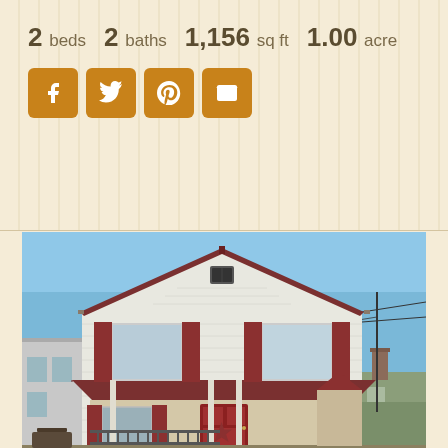2 beds  2 baths  1,156 sq ft  1.00 acre
[Figure (other): Social sharing icons: Facebook, Twitter, Pinterest, Email — brown/orange rounded square buttons]
[Figure (photo): Two-story white clapboard house with dark red metal roof, red shutters, front porch with a decorative star, blue sky background, neighboring buildings visible]